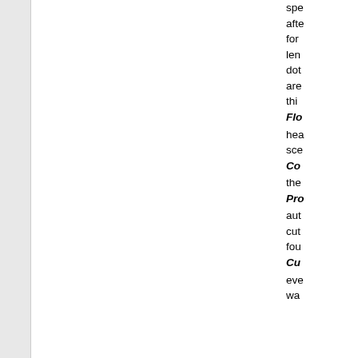spe after for len dot are thi
Flo
hea sce
Co
the
Pro
aut cut fou
Cu
eve wa